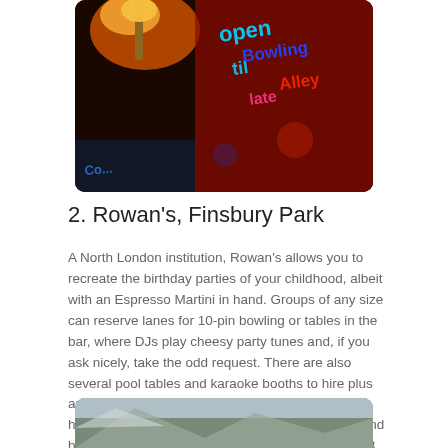[Figure (photo): Neon signs on a building facade showing a bowling alley with colorful neon lights in red and blue against a dark background]
2. Rowan's, Finsbury Park
A North London institution, Rowan's allows you to recreate the birthday parties of your childhood, albeit with an Espresso Martini in hand. Groups of any size can reserve lanes for 10-pin bowling or tables in the bar, where DJs play cheesy party tunes and, if you ask nicely, take the odd request. There are also several pool tables and karaoke booths to hire plus an abundance of retro arcade games for an extra helping of nostalgia. Don't miss the luminous red and blue slushies, which, provided you've just turned 18 or over, can be laced with vodka, gin, rum or tequila.
[Figure (photo): Partial view of a second photo at the bottom of the page, appears to show an outdoor scene]